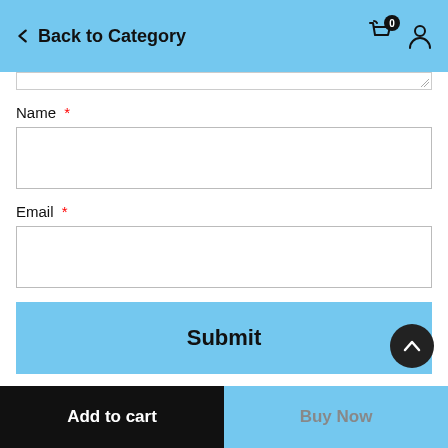Back to Category
Name *
Email *
Submit
Add to cart | Buy Now